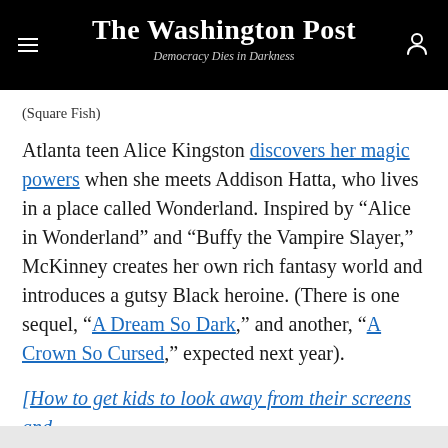The Washington Post — Democracy Dies in Darkness
(Square Fish)
Atlanta teen Alice Kingston discovers her magic powers when she meets Addison Hatta, who lives in a place called Wonderland. Inspired by “Alice in Wonderland” and “Buffy the Vampire Slayer,” McKinney creates her own rich fantasy world and introduces a gutsy Black heroine. (There is one sequel, “A Dream So Dark,” and another, “A Crown So Cursed,” expected next year).
[How to get kids to look away from their screens and